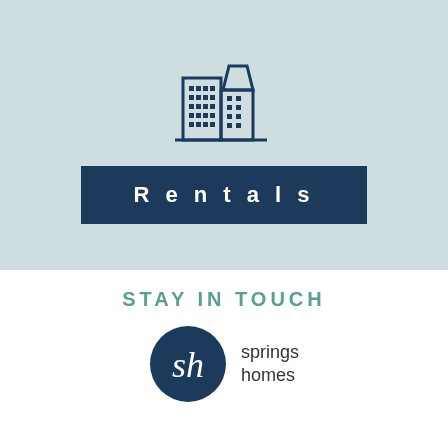[Figure (illustration): Building/office icon in dark navy blue outline style, two tall buildings side by side with grid windows]
Rentals
STAY IN TOUCH
[Figure (logo): Springs Homes logo: dark navy circle with stylized 'sh' script inside, next to text reading 'springs homes']